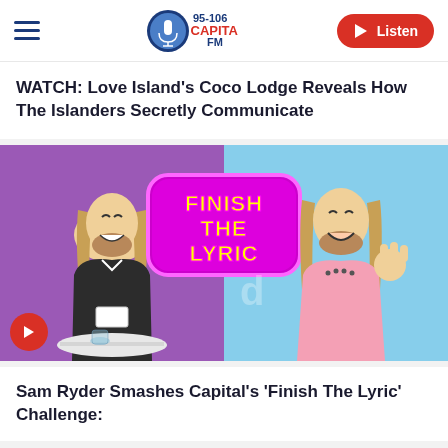Capital FM 95-106 | Listen
WATCH: Love Island's Coco Lodge Reveals How The Islanders Secretly Communicate
[Figure (photo): Sam Ryder in split-screen image with 'Finish The Lyric' challenge graphic on Capital FM. Left side: man with long blond hair in black leather jacket laughing and holding a card at a white table. Right side: same man in pink oversized t-shirt smiling with hand raised. Purple and blue backgrounds.]
Sam Ryder Smashes Capital's 'Finish The Lyric' Challenge: